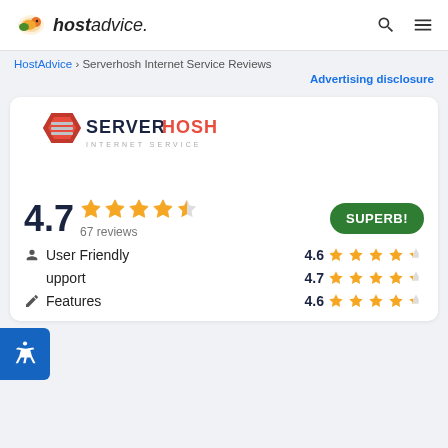hostadvice.
HostAdvice > Serverhosh Internet Service Reviews
Advertising disclosure
[Figure (logo): ServerHosh Internet Service logo with red hexagonal icon and dark text]
4.7 ★★★★½ 67 reviews SUPERB!
User Friendly 4.6 ★★★★½
Support 4.7 ★★★★½
Features 4.6 ★★★★½